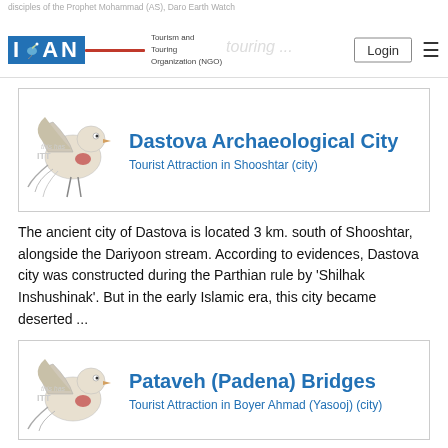disciples of the Prophet Mohammad (AS), Daro Earth Watch
[Figure (logo): IRAN Tourism and Touring Organization (NGO) logo with bird]
Dastova Archaeological City
Tourist Attraction in Shooshtar (city)
The ancient city of Dastova is located 3 km. south of Shooshtar, alongside the Dariyoon stream. According to evidences, Dastova city was constructed during the Parthian rule by 'Shilhak Inshushinak'. But in the early Islamic era, this city became deserted ...
Pataveh (Padena) Bridges
Tourist Attraction in Boyer Ahmad (Yasooj) (city)